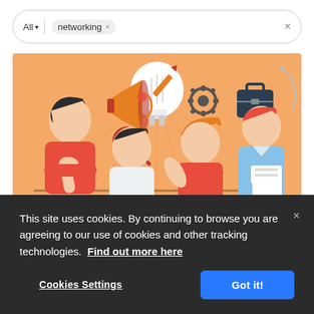[Figure (screenshot): Search bar UI element with 'All' dropdown filter and 'networking' tag chip, with a close X button on the right]
[Figure (illustration): Flat-style illustration of four people networking around a table with a glowing lightbulb, gear, megaphone, magnifying glass, pencil, briefcase, and clock icons on an orange background]
This site uses cookies. By continuing to browse you are agreeing to our use of cookies and other tracking technologies. Find out more here
Cookies Settings
Got it!